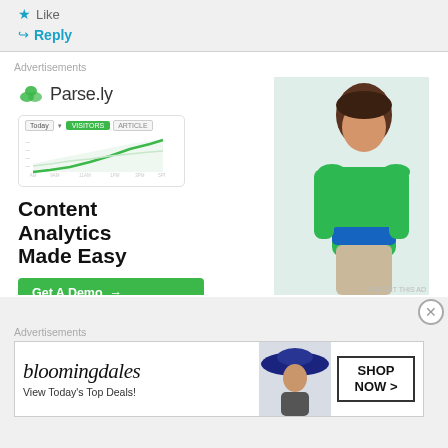Like
Reply
Advertisements
[Figure (other): Parse.ly advertisement banner: Logo with green leaf icon and 'Parse.ly' text, a small analytics chart widget showing line/area chart with 'Today' tab, green active button, and another tab. Bold headline 'Content Analytics Made Easy' with green 'Get A Demo →' button. Right side shows a woman in a green sweater standing in an office. 'REPORT THIS AD' link bottom right.]
[Figure (other): Close/dismiss button (circled X) on right side]
Advertisements
[Figure (other): Bloomingdale's advertisement: Logo in italic serif font 'bloomingdales', tagline 'View Today's Top Deals!', image of woman with wide-brim blue hat, 'SHOP NOW >' button in bordered box.]